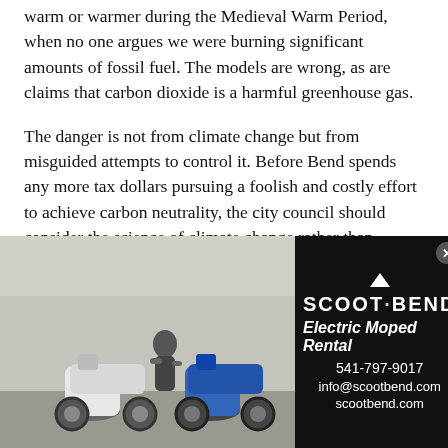warm or warmer during the Medieval Warm Period, when no one argues we were burning significant amounts of fossil fuel. The models are wrong, as are claims that carbon dioxide is a harmful greenhouse gas.
The danger is not from climate change but from misguided attempts to control it. Before Bend spends any more tax dollars pursuing a foolish and costly effort to achieve carbon neutrality, the city council should consider the science of climate change rather than submit to the hysteria of the climate alarmists.
—Paul deWitt
Crooked River Restoration and Water
LTE Submission: Bureau's Failure Jeopardizes Crooked
[Figure (photo): Advertisement for Scoot Bend Electric Moped Rental showing two electric mopeds parked outside, alongside a black panel with the Scoot Bend logo, 'Electric Moped Rental' tagline, phone number 541-797-9017, info@scootbend.com, and scootbend.com]